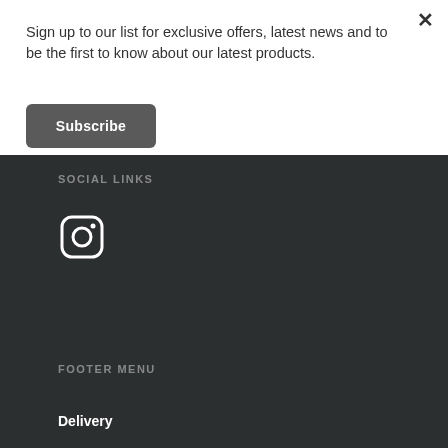Sign up to our list for exclusive offers, latest news and to be the first to know about our latest products.
Subscribe
SOCIAL LINKS
[Figure (logo): Instagram icon — rounded square with camera outline in white on dark background]
FOOTER MENU
Delivery